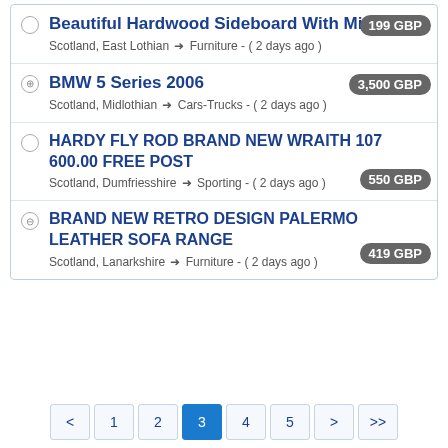Beautiful Hardwood Sideboard With Mirror - 199 GBP - Scotland, East Lothian → Furniture - ( 2 days ago )
BMW 5 Series 2006 - 3,500 GBP - Scotland, Midlothian → Cars-Trucks - ( 2 days ago )
HARDY FLY ROD BRAND NEW WRAITH 107 600.00 FREE POST - 550 GBP - Scotland, Dumfriesshire → Sporting - ( 2 days ago )
BRAND NEW RETRO DESIGN PALERMO LEATHER SOFA RANGE - 419 GBP - Scotland, Lanarkshire → Furniture - ( 2 days ago )
< 1 2 3 4 5 > >>